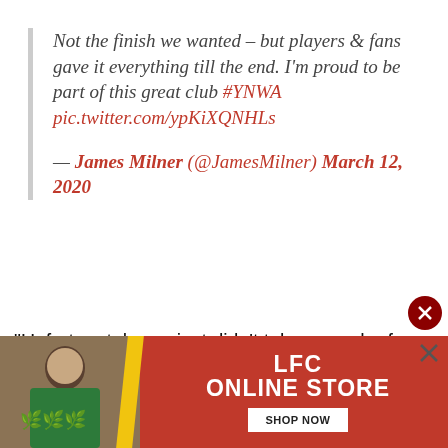Not the finish we wanted – but players & fans gave it everything till the end. I'm proud to be part of this great club #YNWA pic.twitter.com/ypKiXQNHLs
— James Milner (@JamesMilner) March 12, 2020
“Unfortunately, we just didn’t take enough of those chances and it’s massively disappointing but we have to pick ourselves back up and finish the season strongly.
[Figure (infographic): LFC Online Store advertisement banner with red background, person in green shirt, yellow stripe, LFC Online Store text, and SHOP NOW button]